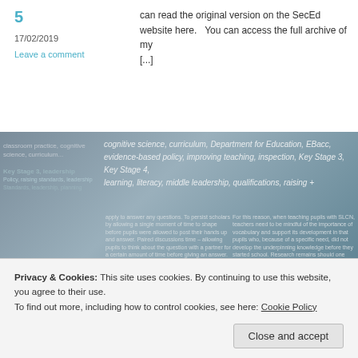5
17/02/2019
Leave a comment
can read the original version on the SecEd website here.   You can access the full archive of my [...]
[Figure (screenshot): Screenshot of an educational article page with tags including cognitive science, curriculum, Department for Education, EBacc, evidence-based policy, improving teaching, inspection, Key Stage 3, Key Stage 4, leadership, literacy, middle leadership, qualifications, raising standards. The page shows multiple columns of text about supporting pupils with SLCN.]
SUPPORTING PUPILS WITH SLCN – PART 4
This article was written for SecEd magazine and first published in January 2019.  You can read the original version on the SecEd
Privacy & Cookies: This site uses cookies. By continuing to use this website, you agree to their use.
To find out more, including how to control cookies, see here: Cookie Policy
Close and accept